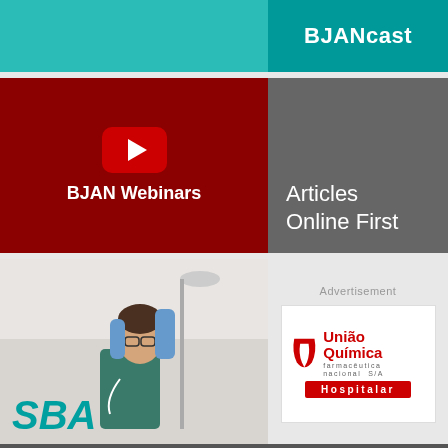[Figure (logo): BJANcast header logo banner with teal/cyan background]
[Figure (illustration): BJAN Webinars block with YouTube play button icon on dark red background]
[Figure (illustration): Articles Online First block on gray background]
[Figure (photo): SBA photo block showing nurse/medical professional with SBA logo in teal]
Advertisement
[Figure (logo): União Química farmacêutica nacional S/A Hospitalar advertisement logo]